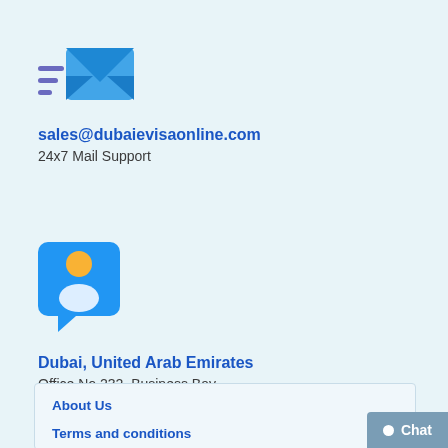[Figure (illustration): Email icon — blue envelope with motion lines on the left side]
sales@dubaievisaonline.com
24x7 Mail Support
[Figure (illustration): Location/contact icon — blue rounded square with a person silhouette and a speech bubble pointer at the bottom]
Dubai, United Arab Emirates
Office No 232, Business Bay
About Us
Terms and conditions